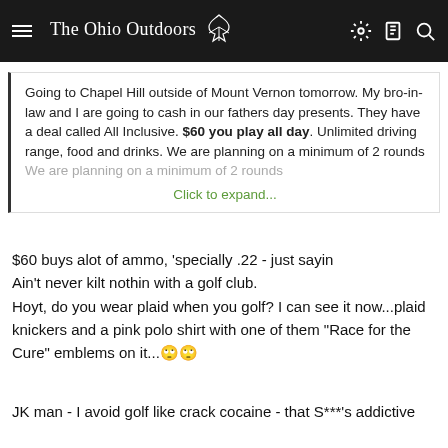The Ohio Outdoors
Going to Chapel Hill outside of Mount Vernon tomorrow. My bro-in-law and I are going to cash in our fathers day presents. They have a deal called All Inclusive. $60 you play all day. Unlimited driving range, food and drinks. We are planning on a minimum of 2 rounds
Click to expand...
$60 buys alot of ammo, 'specially .22 - just sayin
Ain't never kilt nothin with a golf club.
Hoyt, do you wear plaid when you golf? I can see it now...plaid knickers and a pink polo shirt with one of them "Race for the Cure" emblems on it...🙄🙄
JK man - I avoid golf like crack cocaine - that S***'s addictive